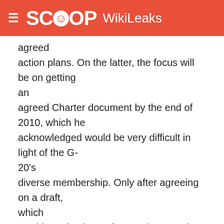SCOOP WikiLeaks
agreed action plans. On the latter, the focus will be on getting an agreed Charter document by the end of 2010, which he acknowledged would be very difficult in light of the G-20's diverse membership. Only after agreeing on a draft, which would need to be "soft enough" to get buy in from Brazil, China and India, and "not refer to the acquis of various international organizations like the OECD," should the implementation phase begin. The plan is to consult with both